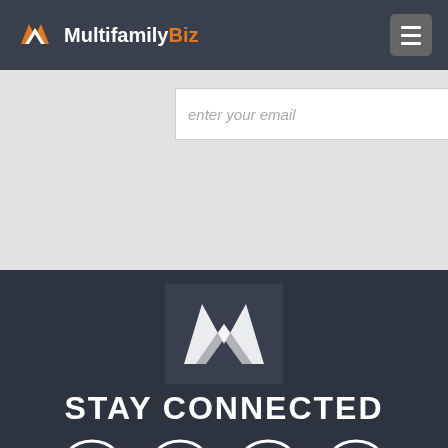MultifamilyBiz
[Figure (screenshot): Email input field with placeholder text 'enter your email' and an orange Subscribe button]
[Figure (logo): MultifamilyBiz white logo mark on dark background]
STAY CONNECTED
[Figure (infographic): Four social media icons in circles: Facebook, Twitter, LinkedIn, RSS]
MultifamilyBiz.com is an information, advertising, and content display platform focused on the multifamily housing industry. This Website